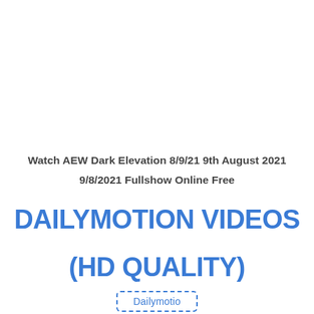Watch AEW Dark Elevation 8/9/21 9th August 2021 9/8/2021 Fullshow Online Free
DAILYMOTION VIDEOS (HD QUALITY)
Dailymotio